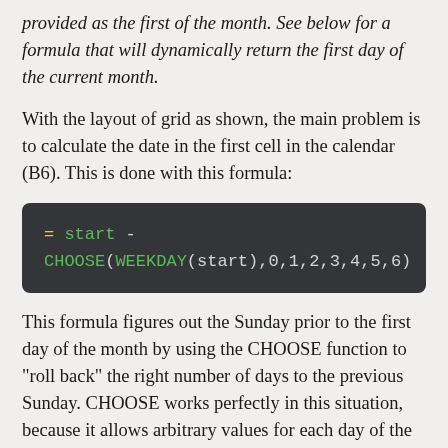provided as the first of the month. See below for a formula that will dynamically return the first day of the current month.
With the layout of grid as shown, the main problem is to calculate the date in the first cell in the calendar (B6). This is done with this formula:
This formula figures out the Sunday prior to the first day of the month by using the CHOOSE function to "roll back" the right number of days to the previous Sunday. CHOOSE works perfectly in this situation, because it allows arbitrary values for each day of the week. We use this feature to roll back to the previous